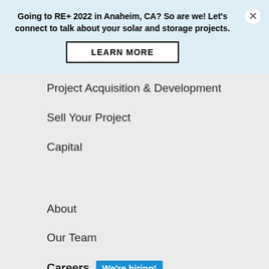Going to RE+ 2022 in Anaheim, CA? So are we! Let's connect to talk about your solar and storage projects.
LEARN MORE
Project Acquisition & Development
Sell Your Project
Capital
About
Our Team
Careers We're hiring!
Contact Us
Resources